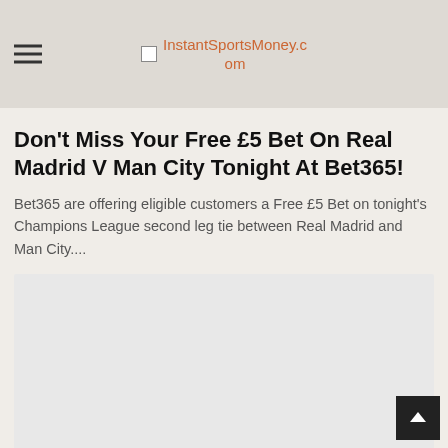InstantSportsMoney.com
Don't Miss Your Free £5 Bet On Real Madrid V Man City Tonight At Bet365!
Bet365 are offering eligible customers a Free £5 Bet on tonight's Champions League second leg tie between Real Madrid and Man City....
[Figure (other): Advertisement placeholder box (gray rectangle)]